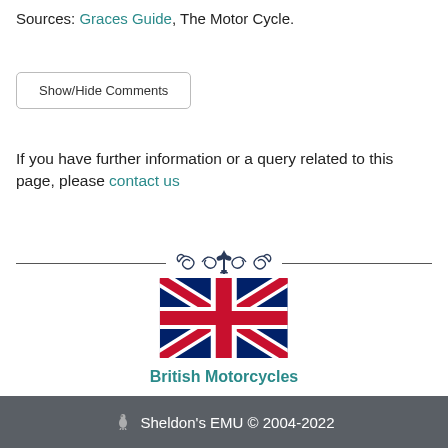Sources: Graces Guide, The Motor Cycle.
Show/Hide Comments
If you have further information or a query related to this page, please contact us
[Figure (illustration): Decorative ornamental divider with a fleur-de-lis and scrollwork motif]
[Figure (illustration): Union Jack (British flag) image with label British Motorcycles below]
Sheldon's EMU © 2004-2022